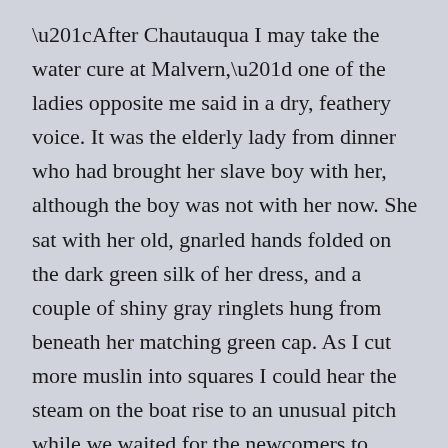“After Chautauqua I may take the water cure at Malvern,” one of the ladies opposite me said in a dry, feathery voice. It was the elderly lady from dinner who had brought her slave boy with her, although the boy was not with her now. She sat with her old, gnarled hands folded on the dark green silk of her dress, and a couple of shiny gray ringlets hung from beneath her matching green cap. As I cut more muslin into squares I could hear the steam on the boat rise to an unusual pitch while we waited for the newcomers to board. Later I heard that the captain of the Moselle was overly proud of his ves­sel, which